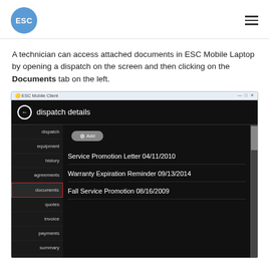ESC (logo) with hamburger menu
A technician can access attached documents in ESC Mobile Laptop by opening a dispatch on the screen and then clicking on the Documents tab on the left.
[Figure (screenshot): ESC Mobile Client application screenshot showing dispatch details screen with left navigation tabs (dispatch, equipment, history, agreements, documents highlighted with red border, quotes, invoice, payments, summary) and a list of documents: Service Promotion Letter 04/11/2010, Warranty Expiration Reminder 09/13/2014, Fall Service Promotion 08/16/2009]